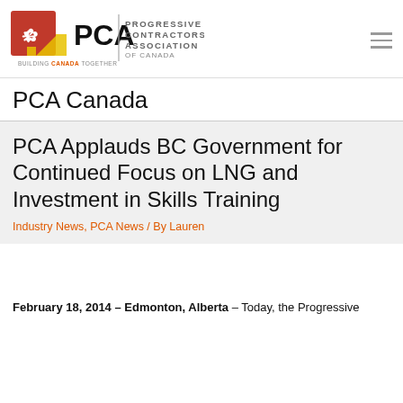[Figure (logo): PCA Progressive Contractors Association of Canada logo with red and yellow speech bubble shapes containing a maple leaf and PCA text]
PCA Canada
PCA Applauds BC Government for Continued Focus on LNG and Investment in Skills Training
Industry News, PCA News / By Lauren
February 18, 2014 – Edmonton, Alberta – Today, the Progressive